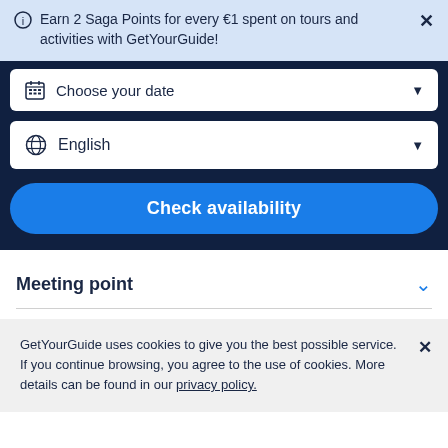Earn 2 Saga Points for every €1 spent on tours and activities with GetYourGuide!
[Figure (screenshot): Choose your date dropdown selector with calendar icon and dropdown arrow]
[Figure (screenshot): English language dropdown selector with globe icon and dropdown arrow]
Check availability
Meeting point
GetYourGuide uses cookies to give you the best possible service. If you continue browsing, you agree to the use of cookies. More details can be found in our privacy policy.